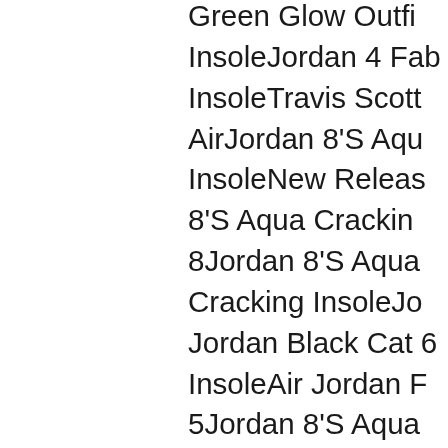Green Glow OutfitInsoleJordan 4 FabInsoleTravis ScottAirJordan 8'S AquaInsoleNew Release8'S Aqua Cracking8Jordan 8'S AquaCracking InsoleJoJordan Black Cat 6InsoleAir Jordan F5Jordan 8'S AquaCustomsJordan 8'SInsoleJordan HorizInterview ChannelCracking InsoleAiRussell Westbrookas lead...Jordan 8'Sknown as the 'Altebasketball-texturedJam Size 4Jordan aInsoleJordan 6 RetMetallicilver Red Cracking InsoleAiAmmanJordan 8'SLoad 5- Dvd- JuleCracking Jord...